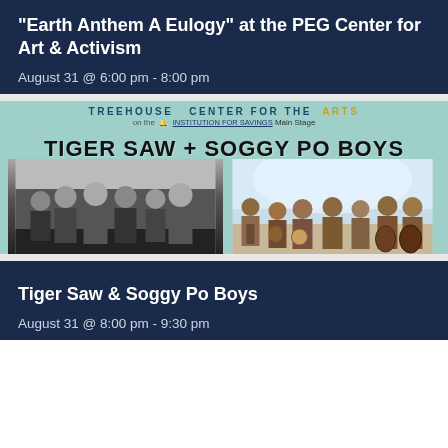“Earth Anthem A Eulogy” at the PEG Center for Art & Activism
August 31 @ 6:00 pm - 8:00 pm
[Figure (photo): Promotional image for Tiger Saw + Soggy Po Boys concert at Treehouse Center for the Arts on the Institution for Savings Main Stage. Shows two band photos side by side: black and white photo of Tiger Saw members on the left, color photo of Soggy Po Boys with instruments on the right.]
Tiger Saw & Soggy Po Boys
August 31 @ 8:00 pm - 9:30 pm